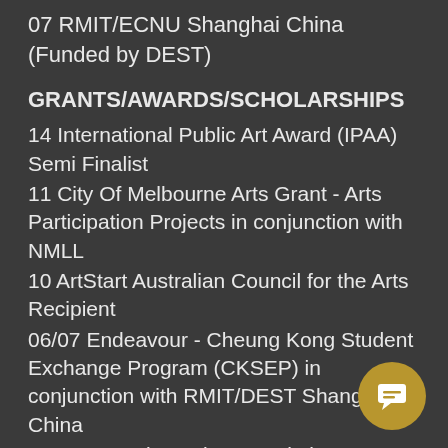07 RMIT/ECNU Shanghai China (Funded by DEST)
GRANTS/AWARDS/SCHOLARSHIPS
14 International Public Art Award (IPAA) Semi Finalist
11 City Of Melbourne Arts Grant - Arts Participation Projects in conjunction with NMLL
10 ArtStart Australian Council for the Arts Recipient
06/07 Endeavour - Cheung Kong Student Exchange Program (CKSEP) in conjunction with RMIT/DEST Shanghai, China
05 George Alexander Foundation Scholarship Recipient
04 RMIT University Union Arts Grant Recipient